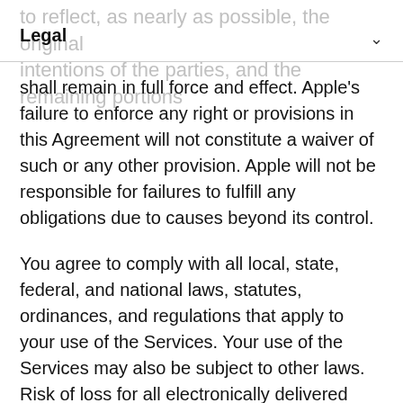Legal
shall remain in full force and effect. Apple's failure to enforce any right or provisions in this Agreement will not constitute a waiver of such or any other provision. Apple will not be responsible for failures to fulfill any obligations due to causes beyond its control.
You agree to comply with all local, state, federal, and national laws, statutes, ordinances, and regulations that apply to your use of the Services. Your use of the Services may also be subject to other laws. Risk of loss for all electronically delivered Transactions pass to the acquirer upon electronic transmission to the recipient. No Apple employee or agent has the authority to vary this Agreement.
Apple may notify you with respect to the Services by